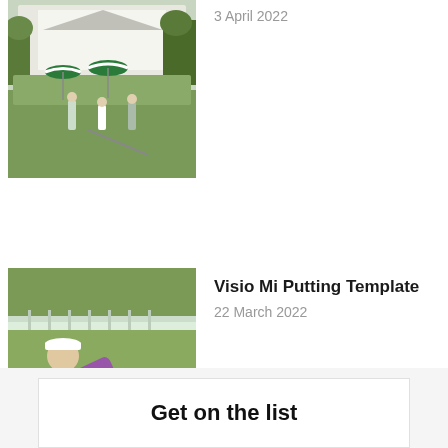[Figure (photo): Golf scene at The Masters: players and crowd on putting green with white building and green-and-white umbrellas in background]
3 April 2022
[Figure (photo): Golfer in purple shirt and dark shorts bent over putting with a putter and a Visio Mi putting template device on grass]
Visio Mi Putting Template
22 March 2022
Get on the list